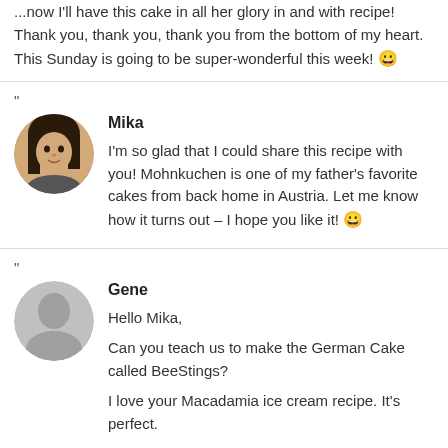... now I'll have this cake in all her glory in and with recipe! Thank you, thank you, thank you from the bottom of my heart. This Sunday is going to be super-wonderful this week! 😀
"
[Figure (photo): Round avatar photo of Mika, a woman with dark hair]
Mika
I'm so glad that I could share this recipe with you! Mohnkuchen is one of my father's favorite cakes from back home in Austria. Let me know how it turns out – I hope you like it! 😀
"
[Figure (illustration): Round gray placeholder avatar for Gene]
Gene
Hello Mika,

Can you teach us to make the German Cake called BeeStings?

I love your Macadamia ice cream recipe. It's perfect.

Thank you,

Gene